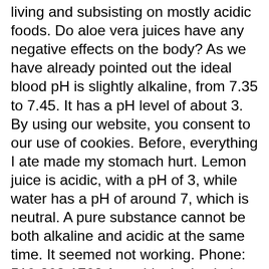living and subsisting on mostly acidic foods. Do aloe vera juices have any negative effects on the body? As we have already pointed out the ideal blood pH is slightly alkaline, from 7.35 to 7.45. It has a pH level of about 3. By using our website, you consent to our use of cookies. Before, everything I ate made my stomach hurt. Lemon juice is acidic, with a pH of 3, while water has a pH of around 7, which is neutral. A pure substance cannot be both alkaline and acidic at the same time. It seemed not working. Phone: 519-893-1762 Antacids. It also helps . © 2005-2020 Healthline Media a Red Ventures Company. Thanks to aloe vera juice, you can prevent these health problems and diseases by keeping your pH properly balanced! Its use has been recorded as far back as Egyptian times. Animal studies show anthraquinones are an intestinal irritant. (Bottled aloe vera drinks have acids such as citric acid added by law so that bacteria won't grow, which wreaks havoc on the stomach. Due to the presence of these hydroxyl ions, the solution is alkaline. It can help neutralise the acid in the stomach," dietitian Melissa Rifkin, RD, told a portal. The lesser the pH, the more the acidity. And from 7 to 14 i...